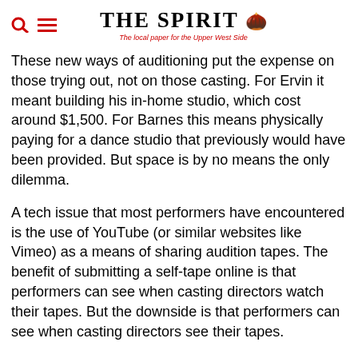THE SPIRIT — The local paper for the Upper West Side
These new ways of auditioning put the expense on those trying out, not on those casting. For Ervin it meant building his in-home studio, which cost around $1,500. For Barnes this means physically paying for a dance studio that previously would have been provided. But space is by no means the only dilemma.
A tech issue that most performers have encountered is the use of YouTube (or similar websites like Vimeo) as a means of sharing audition tapes. The benefit of submitting a self-tape online is that performers can see when casting directors watch their tapes. But the downside is that performers can see when casting directors see their tapes.
Barnes struggled with not getting the views she expected. Barnes checked on one of her auditions six